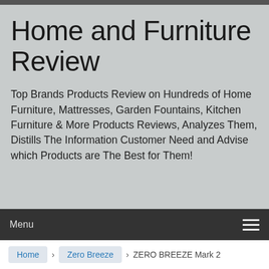Home and Furniture Review
Top Brands Products Review on Hundreds of Home Furniture, Mattresses, Garden Fountains, Kitchen Furniture & More Products Reviews, Analyzes Them, Distills The Information Customer Need and Advise which Products are The Best for Them!
Menu
Home › Zero Breeze › ZERO BREEZE Mark 2